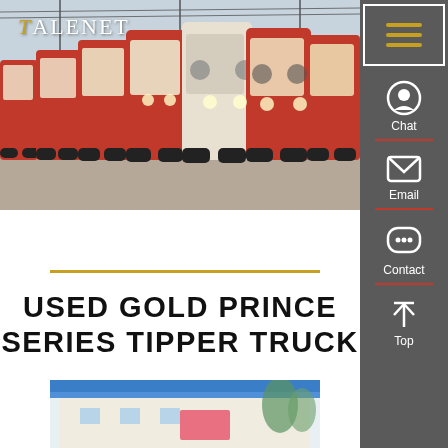[Figure (photo): Row of red and white trucks parked at a lot, viewed from front-angle. Multiple heavy trucks lined up.]
TALENET
USED GOLD PRINCE SERIES TIPPER TRUCK
[Figure (photo): Partial view of a building with blue roof, bottom of page.]